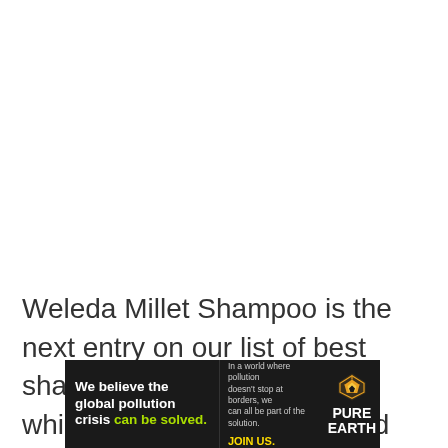Weleda Millet Shampoo is the next entry on our list of best shampoo for excess sebum which has both cleansing and nourishing properties.
[Figure (other): Advertisement banner for Pure Earth organization. Left section in black background with white bold text 'We believe the global pollution crisis' and green text 'can be solved.' Middle section with small white text 'In a world where pollution doesn't stop at borders, we can all be part of the solution.' and yellow text 'JOIN US.' Right section shows the Pure Earth logo (diamond/chevron shape in orange/yellow) with white bold text 'PURE EARTH'.]